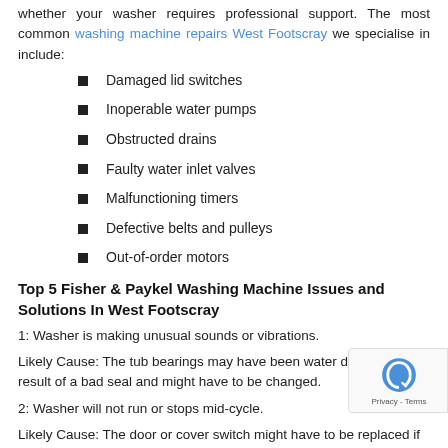whether your washer requires professional support. The most common washing machine repairs West Footscray we specialise in include:
Damaged lid switches
Inoperable water pumps
Obstructed drains
Faulty water inlet valves
Malfunctioning timers
Defective belts and pulleys
Out-of-order motors
Top 5 Fisher & Paykel Washing Machine Issues and Solutions In West Footscray
1: Washer is making unusual sounds or vibrations.
Likely Cause: The tub bearings may have been water damaged as a result of a bad seal and might have to be changed.
2: Washer will not run or stops mid-cycle.
Likely Cause: The door or cover switch might have to be replaced if